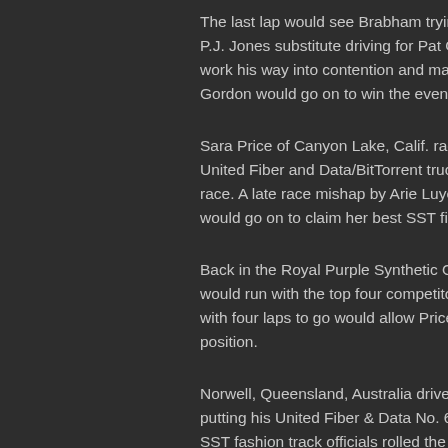The last lap would see Brabham trying hard to get P.J. Jones substitute driving for Pat O'Keefe in the work his way into contention and make contact with Gordon would go on to win the event ahead of Jon
Sara Price of Canyon Lake, Calif. racing in front of United Fiber and Data/BitTorrent truck would rema race. A late race mishap by Arie Luyendyk Jr. woul would go on to claim her best SST finish to date in
Back in the Royal Purple Synthetic Oil colors this w would run with the top four competitors majority of with four laps to go would allow Price to slip by. Lu position.
Norwell, Queensland, Australia driver Paul Morris w putting his United Fiber & Data No. 67 truck on its SST fashion track officials rolled the truck back ove event finishing in the sixth spot.
Short course ace Kyle LeDuc of Beaumont, Calif. d would battle power steering issues all night. As the the final lap...